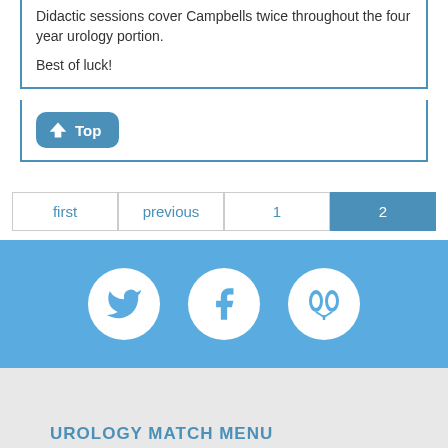Didactic sessions cover Campbells twice throughout the four year urology portion.
Best of luck!
Top
first  previous  1  2
[Figure (logo): Twitter, Facebook, and kidney/urology social media icons in white circles on blue background]
UROLOGY MATCH MENU